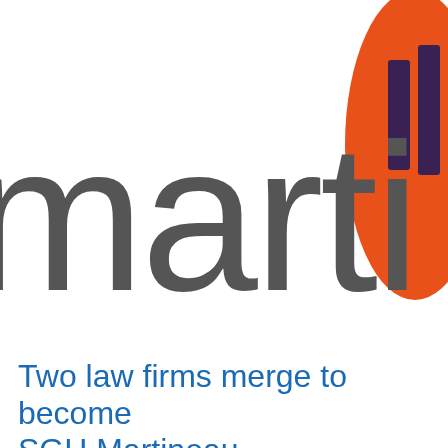[Figure (logo): Partial SGH Martineau law firm logo showing large grey lowercase letters 'marti' (partially cropped) and an orange circle with two vertical dark rectangular bars in the upper right corner]
Two law firms merge to become SGH Martineau